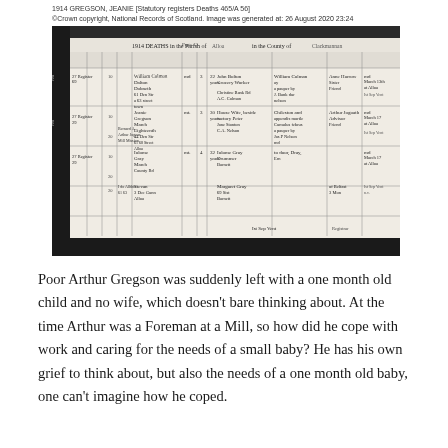1914 GREGSON, JEANIE [Statutory registers Deaths 465/A 56]
©Crown copyright, National Records of Scotland. Image was generated at: 26 August 2020 23:24
[Figure (photo): Scanned image of a Scottish statutory deaths register page from 1914, showing handwritten entries in a tabular format with multiple columns for name, date, age, cause of death, informant, and other details. The register shows multiple death entries including one for Jeanie Gregson.]
Poor Arthur Gregson was suddenly left with a one month old child and no wife, which doesn't bare thinking about. At the time Arthur was a Foreman at a Mill, so how did he cope with work and caring for the needs of a small baby? He has his own grief to think about, but also the needs of a one month old baby, one can't imagine how he coped.